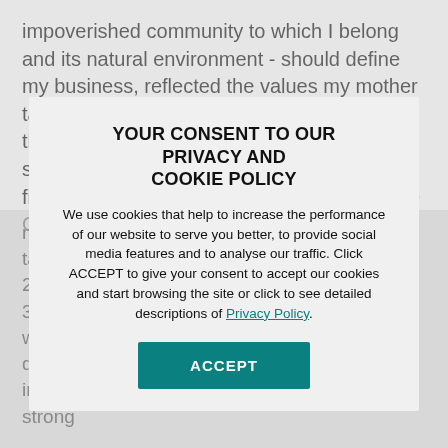impoverished community to which I belong and its natural environment - should define my business, reflected the values my mother taught me as a child. I crystallised this into the philosophy that my business is a human service. Mr. Rupert Goodman's initiative in finding and sharing examples of Responsible Capitalism is admirable for the world
needs... practical... Responsible Capitalism... taking us... 2... 3... sustance his business... the environment with the formation... conservation, to deliver positive en... nd cultural intervention. His philosophy has delivered strong
YOUR CONSENT TO OUR PRIVACY AND COOKIE POLICY
We use cookies that help to increase the performance of our website to serve you better, to provide social media features and to analyse our traffic. Click ACCEPT to give your consent to accept our cookies and start browsing the site or click to see detailed descriptions of Privacy Policy.
ACCEPT